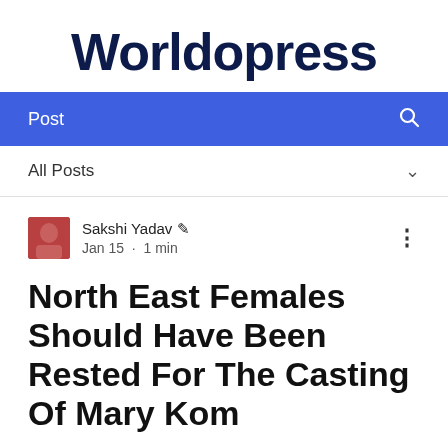Worldopress
Post
All Posts
Sakshi Yadav ✏ Jan 15 · 1 min
North East Females Should Have Been Rested For The Casting Of Mary Kom